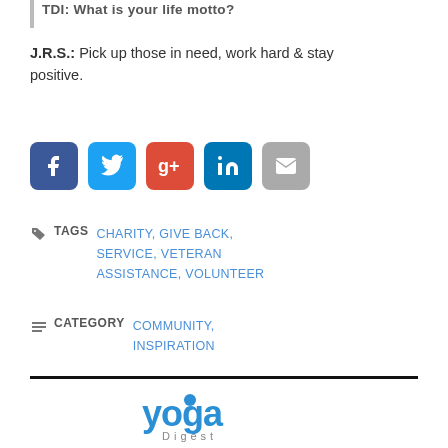TDI: What is your life motto?
J.R.S.: Pick up those in need, work hard & stay positive.
[Figure (infographic): Social media share icons: Facebook (blue), Twitter (light blue), Google+ (red), LinkedIn (dark blue), Email (gray)]
TAGS  CHARITY, GIVE BACK, SERVICE, VETERAN ASSISTANCE, VOLUNTEER
CATEGORY  COMMUNITY, INSPIRATION
[Figure (logo): Yoga Digest logo — stylized text 'yoga' in blue with a lotus/figure icon above the 'o', and 'Digest' in spaced gray letters below]